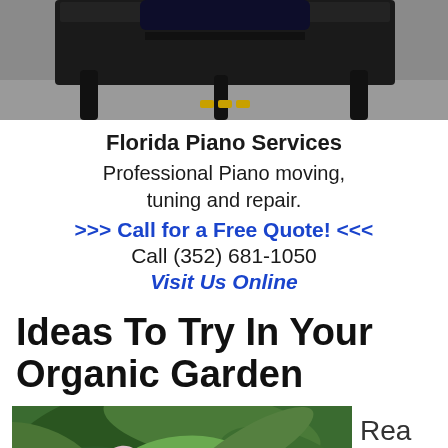[Figure (photo): Top portion of a black grand piano with dark legs visible against a gray floor background]
Florida Piano Services
Professional Piano moving, tuning and repair.
>>> Call for a Free Quote! <<<
Call (352) 681-1050
Visit Us Online
Ideas To Try In Your Organic Garden
[Figure (photo): Close-up photo of a pink flower bloom among large green tropical leaves in a garden]
Read